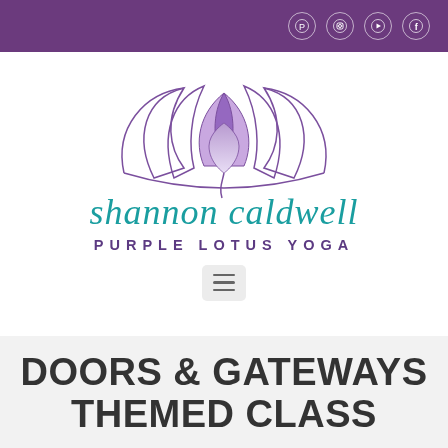Social media icons bar (Pinterest, Instagram, YouTube, Facebook)
[Figure (logo): Purple lotus flower logo with petals in purple and lavender tones on a white background]
shannon caldwell
PURPLE LOTUS YOGA
[Figure (other): Hamburger menu button (three horizontal lines) on a light grey rounded rectangle]
DOORS & GATEWAYS THEMED CLASS